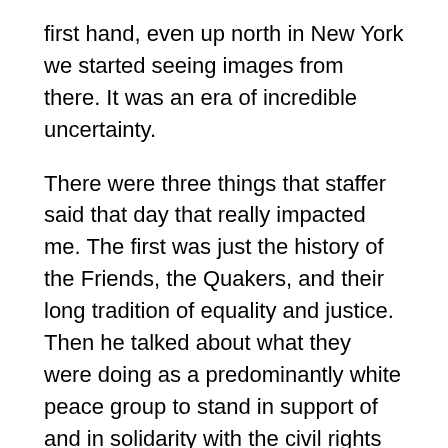first hand, even up north in New York we started seeing images from there. It was an era of incredible uncertainty.
There were three things that staffer said that day that really impacted me. The first was just the history of the Friends, the Quakers, and their long tradition of equality and justice. Then he talked about what they were doing as a predominantly white peace group to stand in support of and in solidarity with the civil rights movement in the Southern states. Lastly, he talked about the concept of the “power of one”, the idea that each and every one of us has the ability to impact change if we so choose to act on it. He ended his talk by inviting anyone who was interested to an AFSC high school work camp taking place in the Pocono Mountains. That was really the game changer.
At the camp, when we weren’t growing and farming our own